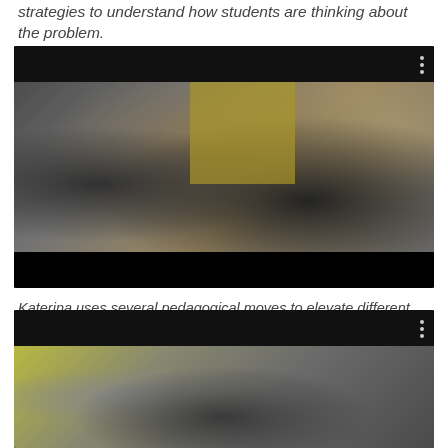strategies to understand how students are thinking about the problem.
[Figure (photo): Classroom scene with students sitting at desks and a teacher in the background, viewed from behind a student in the foreground.]
Katerina uses several pedagogical moves to elevate different students' academic status during a whole class discussion.
[Figure (photo): Classroom scene with a teacher standing at the front of the room addressing students.]